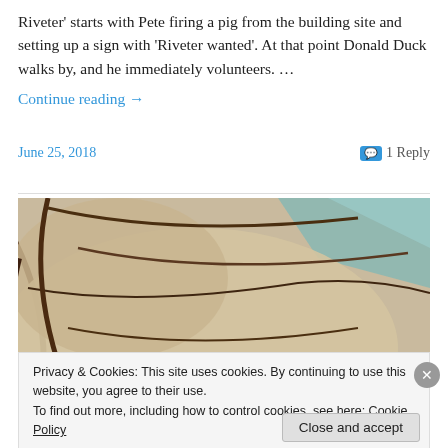Riveter' starts with Pete firing a pig from the building site and setting up a sign with 'Riveter wanted'. At that point Donald Duck walks by, and he immediately volunteers. …
Continue reading →
June 25, 2018
1 Reply
[Figure (illustration): Close-up animation still showing curved illustrated lines and shapes in warm beige/brown tones, appearing to be a detail of an animated character or scene.]
Privacy & Cookies: This site uses cookies. By continuing to use this website, you agree to their use.
To find out more, including how to control cookies, see here: Cookie Policy
Close and accept